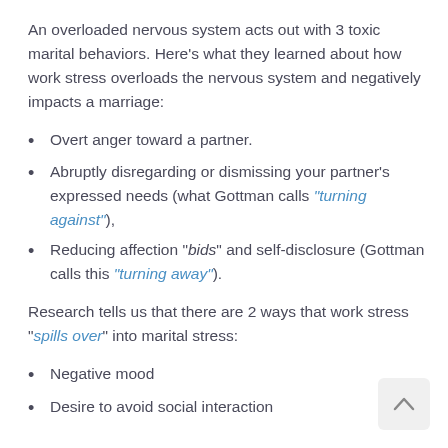An overloaded nervous system acts out with 3 toxic marital behaviors. Here's what they learned about how work stress overloads the nervous system and negatively impacts a marriage:
Overt anger toward a partner.
Abruptly disregarding or dismissing your partner's expressed needs (what Gottman calls “turning against”),
Reducing affection “bids” and self-disclosure (Gottman calls this “turning away”).
Research tells us that there are 2 ways that work stress “spills over” into marital stress:
Negative mood
Desire to avoid social interaction